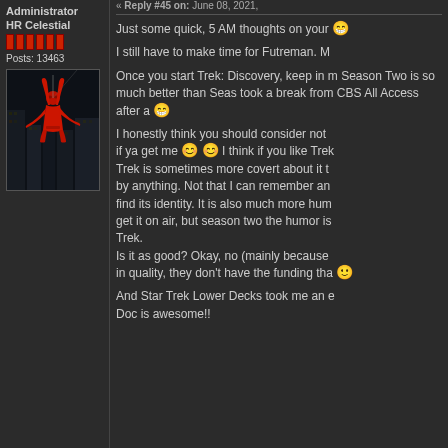« Reply #45 on: June 08, 2021,
Administrator
HR Celestial
Posts: 13463
[Figure (illustration): Comic book style illustration of Daredevil in a red suit swinging upside down in an urban setting at night]
Just some quick, 5 AM thoughts on your
I still have to make time for Futreman. M
Once you start Trek: Discovery, keep in mind Season Two is so much better than Season... took a break from CBS All Access after a
I honestly think you should consider not if ya get me 😀 😀 I think if you like Trek Trek is sometimes more covert about it t by anything. Not that I can remember an find its identity. It is also much more hum get it on air, but season two the humor is Trek.
Is it as good? Okay, no (mainly because in quality, they don't have the funding tha
And Star Trek Lower Decks took me an e Doc is awesome!!